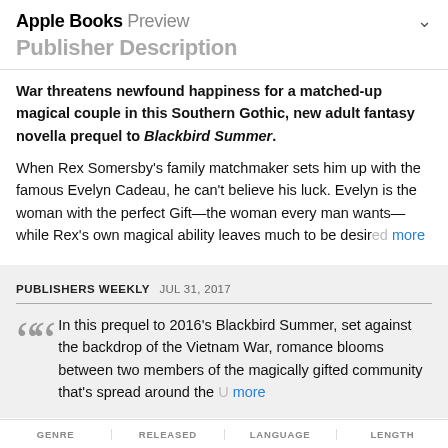Apple Books Preview
Publisher Description
War threatens newfound happiness for a matched-up magical couple in this Southern Gothic, new adult fantasy novella prequel to Blackbird Summer.
When Rex Somersby's family matchmaker sets him up with the famous Evelyn Cadeau, he can't believe his luck. Evelyn is the woman with the perfect Gift—the woman every man wants—while Rex's own magical ability leaves much to be desired more
PUBLISHERS WEEKLY  JUL 31, 2017
In this prequel to 2016's Blackbird Summer, set against the backdrop of the Vietnam War, romance blooms between two members of the magically gifted community that's spread around the U more
GENRE | RELEASED | LANGUAGE | LENGTH